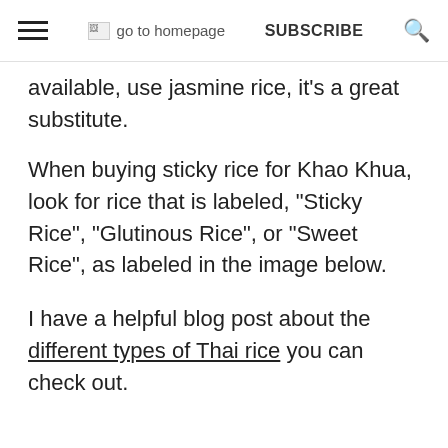go to homepage  SUBSCRIBE  🔍
available, use jasmine rice, it's a great substitute.
When buying sticky rice for Khao Khua, look for rice that is labeled, "Sticky Rice", "Glutinous Rice", or "Sweet Rice", as labeled in the image below.
I have a helpful blog post about the different types of Thai rice you can check out.